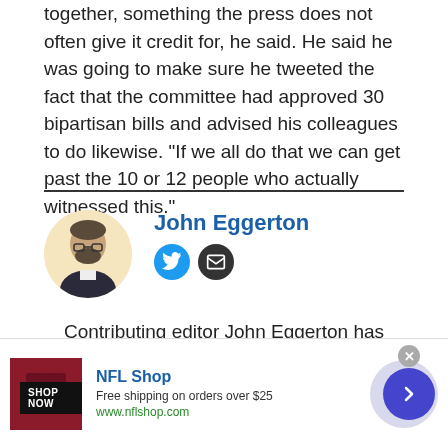together, something the press does not often give it credit for, he said. He said he was going to make sure he tweeted the fact that the committee had approved 30 bipartisan bills and advised his colleagues to do likewise. "If we all do that we can get past the 10 or 12 people who actually witnessed this."
[Figure (photo): Author headshot of John Eggerton, circular cropped portrait photo on light yellow background]
John Eggerton
Contributing editor John Eggerton has been an editor and/or writer on media regulation,
[Figure (infographic): NFL Shop advertisement banner with red jersey image, shop now button, free shipping offer, and navigation arrow]